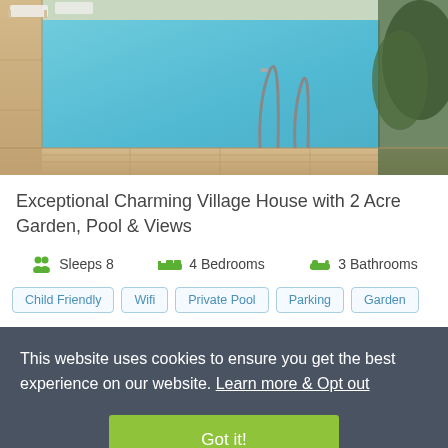[Figure (photo): Aerial/ground view of a private swimming pool with metal handrails, stone tile surround, sun loungers visible at top left, and shaded garden area to the right.]
Exceptional Charming Village House with 2 Acre Garden, Pool & Views
Sleeps 8
4 Bedrooms
3 Bathrooms
Child Friendly
Wifi
Private Pool
Parking
Garden
This website uses cookies to ensure you get the best experience on our website. Learn more & Opt out
Got it!